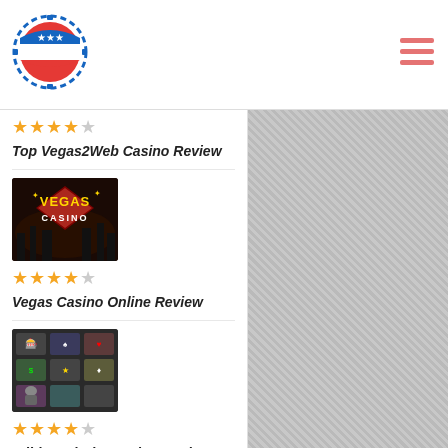[Figure (logo): USA casino chip logo with American flag design, circular with dashed border]
[Figure (other): Hamburger menu icon with three horizontal red/pink lines]
★★★★☆ Top Vegas2Web Casino Review
[Figure (photo): Vegas Casino Online logo image - dark background with Vegas Casino text in gold/red]
★★★★☆ Vegas Casino Online Review
[Figure (photo): Wild Card City Casino screenshot showing game thumbnails]
★★★★☆ Wild Card City Casino Review & Rating